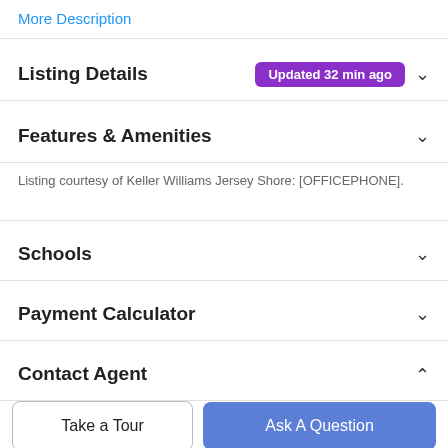More Description
Listing Details  Updated 32 min ago
Features & Amenities
Listing courtesy of Keller Williams Jersey Shore: [OFFICEPHONE].
Schools
Payment Calculator
Contact Agent
Take a Tour
Ask A Question